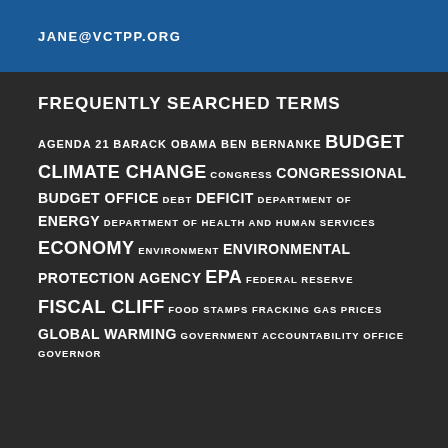JANE@VCTPP.ORG
FREQUENTLY SEARCHED TERMS
AGENDA 21 BARACK OBAMA BEN BERNANKE BUDGET CLIMATE CHANGE CONGRESS CONGRESSIONAL BUDGET OFFICE DEBT DEFICIT DEPARTMENT OF ENERGY DEPARTMENT OF HEALTH AND HUMAN SERVICES ECONOMY ENVIRONMENT ENVIRONMENTAL PROTECTION AGENCY EPA FEDERAL RESERVE FISCAL CLIFF FOOD STAMPS FRACKING GAS PRICES GLOBAL WARMING GOVERNMENT ACCOUNTABILITY OFFICE GOVERNOR